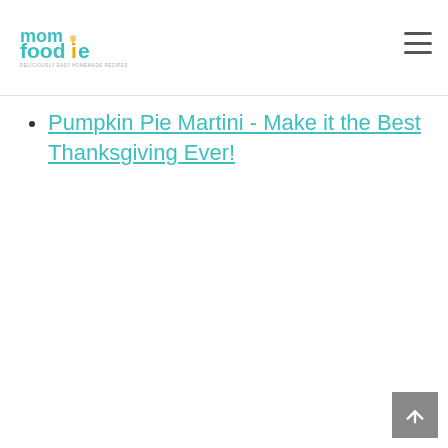mom foodie - DELICIOUSLY EASY HOMEMADE RECIPES
Pumpkin Pie Martini - Make it the Best Thanksgiving Ever!